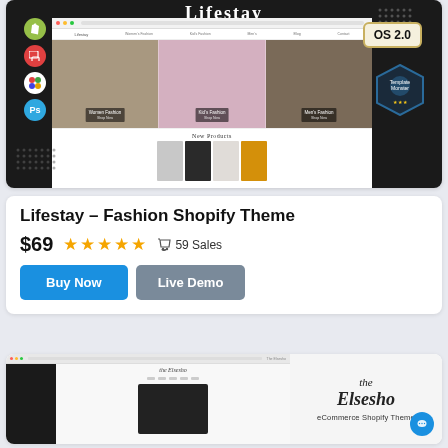[Figure (screenshot): Lifestay Fashion Shopify Theme screenshot showing browser mockup with fashion category panels (Women's Fashion, Kid's Fashion, Men's Fashion), New Products section, Shopify/device/color/PS icons on left, OS 2.0 badge top right, Template Monster badge]
Lifestay – Fashion Shopify Theme
$69  ★★★★★  59 Sales
Buy Now   Live Demo
[Figure (screenshot): The Elsesho eCommerce Shopify Theme preview showing browser mockup and brand logo area with chat bubble]